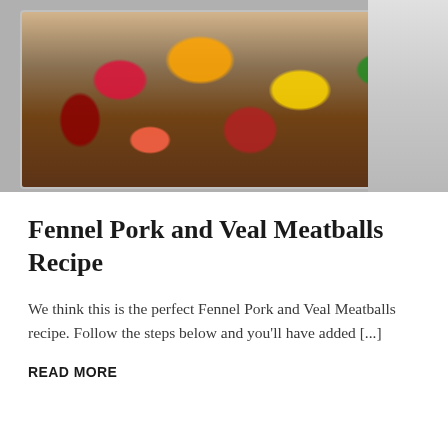[Figure (photo): A baking dish filled with colorful roasted food items including red, orange, and green vegetables, with a grey background area visible on the right side.]
Fennel Pork and Veal Meatballs Recipe
We think this is the perfect Fennel Pork and Veal Meatballs recipe. Follow the steps below and you'll have added [...]
READ MORE